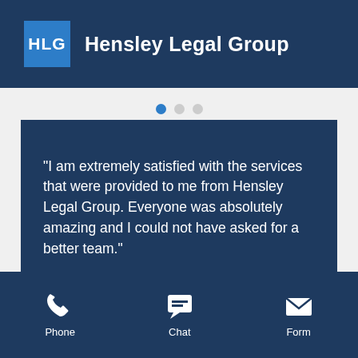HLG Hensley Legal Group
"I am extremely satisfied with the services that were provided to me from Hensley Legal Group. Everyone was absolutely amazing and I could not have asked for a better team."
Phone  Chat  Form